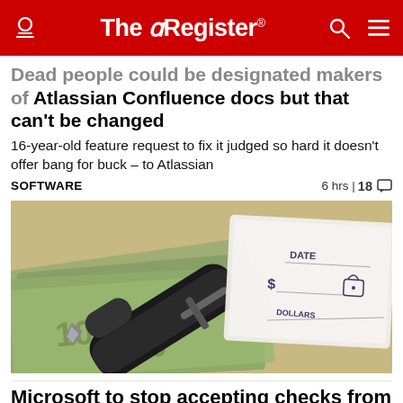The Register
Dead people could be designated makers of Atlassian Confluence docs but that can't be changed
16-year-old feature request to fix it judged so hard it doesn't offer bang for buck – to Atlassian
SOFTWARE  6 hrs | 18
[Figure (photo): Photo of a fountain pen resting on US dollar bills next to a blank cheque showing DATE, $ and DOLLARS fields]
Microsoft to stop accepting checks from